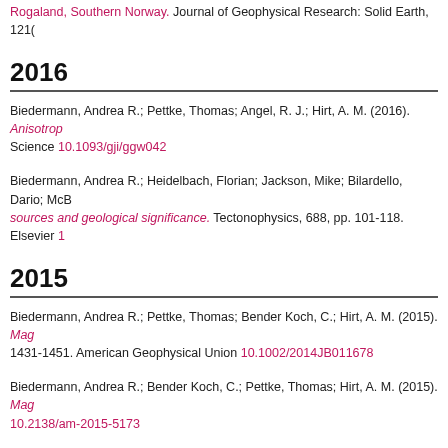Rogaland, Southern Norway. Journal of Geophysical Research: Solid Earth, 121(
2016
Biedermann, Andrea R.; Pettke, Thomas; Angel, R. J.; Hirt, A. M. (2016). Anisotrop Science 10.1093/gji/ggw042
Biedermann, Andrea R.; Heidelbach, Florian; Jackson, Mike; Bilardello, Dario; McB sources and geological significance. Tectonophysics, 688, pp. 101-118. Elsevier 1
2015
Biedermann, Andrea R.; Pettke, Thomas; Bender Koch, C.; Hirt, A. M. (2015). Mag 1431-1451. American Geophysical Union 10.1002/2014JB011678
Biedermann, Andrea R.; Bender Koch, C.; Pettke, Thomas; Hirt, A. M. (2015). Mag 10.2138/am-2015-5173
Almqvist, Bjarne S. G.; Biedermann, Andrea R.; Klonowska, Iwona; Misra, Santanu geophysics, geosystems, 16(10), pp. 3472-3483. American Geophysical Union AG
Biedermann, Andrea R.; Kunze, K; Zappone, A S; Hirt, A M (2015). Origin of magne 10.1088/1757-899x/82/1/012098
2014